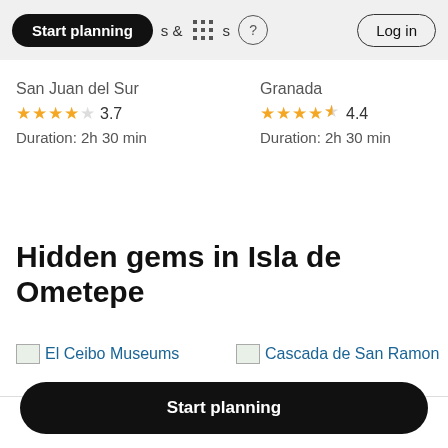Start planning   & Activities   ? Log in
San Juan del Sur
★★★★☆ 3.7
Duration: 2h 30 min
Granada
★★★★½ 4.4
Duration: 2h 30 min
Hidden gems in Isla de Ometepe
El Ceibo Museums
Cascada de San Ramon
Start planning